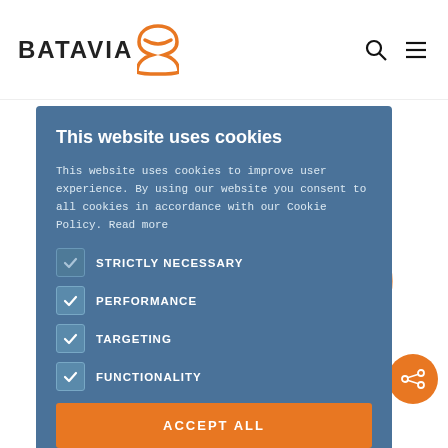BATAVIA [logo] [search] [menu]
This website uses cookies
This website uses cookies to improve user experience. By using our website you consent to all cookies in accordance with our Cookie Policy. Read more
STRICTLY NECESSARY
PERFORMANCE
TARGETING
FUNCTIONALITY
ACCEPT ALL
SHOW DETAILS
8-12 Hennessy Road, Wan Chai